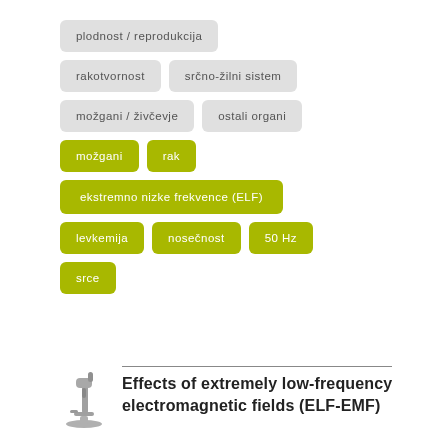[Figure (infographic): Tag cloud with gray and green rounded rectangle labels in Slovenian and one row of green tags. Gray tags: plodnost/reprodukcija, rakotvornost, srčno-žilni sistem, možgani/živčevje, ostali organi. Green tags: možgani, rak, ekstremno nizke frekvence (ELF), levkemija, nosečnost, 50 Hz, srce.]
[Figure (illustration): Microscope icon in gray outline style]
Effects of extremely low-frequency electromagnetic fields (ELF-EMF)